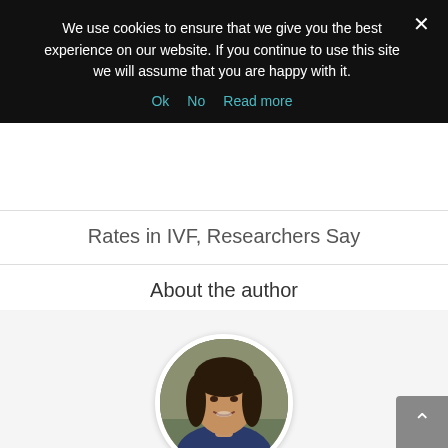We use cookies to ensure that we give you the best experience on our website. If you continue to use this site we will assume that you are happy with it.
Ok  No  Read more
Rates in IVF, Researchers Say
About the author
[Figure (photo): Circular portrait photo of Lisa Arneill, a woman with dark hair smiling, wearing a dark blue top.]
Lisa Arneill
Mom of 2 boys and founder of GrowingYourBaby.com and World Traveled Family. When I'm not running around after my boys, I'm looking for our next vacation spot!